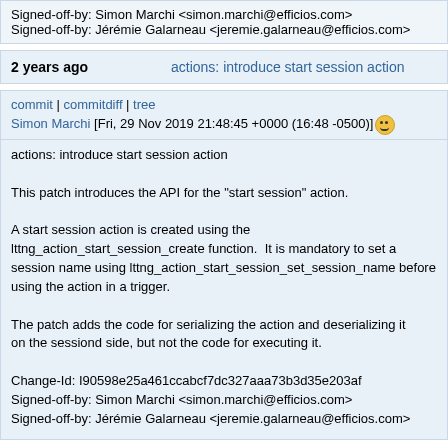Signed-off-by: Simon Marchi <simon.marchi@efficios.com>
Signed-off-by: Jérémie Galarneau <jeremie.galarneau@efficios.com>
2 years ago    actions: introduce start session action
commit | commitdiff | tree
Simon Marchi [Fri, 29 Nov 2019 21:48:45 +0000 (16:48 -0500)]
actions: introduce start session action

This patch introduces the API for the "start session" action.

A start session action is created using the lttng_action_start_session_create function.  It is mandatory to set a session name using lttng_action_start_session_set_session_name before using the action in a trigger.

The patch adds the code for serializing the action and deserializing it on the sessiond side, but not the code for executing it.

Change-Id: I90598e25a461ccabcf7dc327aaa73b3d35e203af
Signed-off-by: Simon Marchi <simon.marchi@efficios.com>
Signed-off-by: Jérémie Galarneau <jeremie.galarneau@efficios.com>